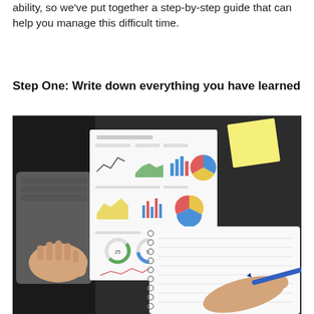ability, so we've put together a step-by-step guide that can help you manage this difficult time.
Step One: Write down everything you have learned
[Figure (photo): A person's hand writing in a spiral notebook with a blue pen, a laptop keyboard on the left, and a printed analytics report showing various charts (line charts, bar charts, pie charts, donut charts) on a dark desk surface with a yellow sticky note.]